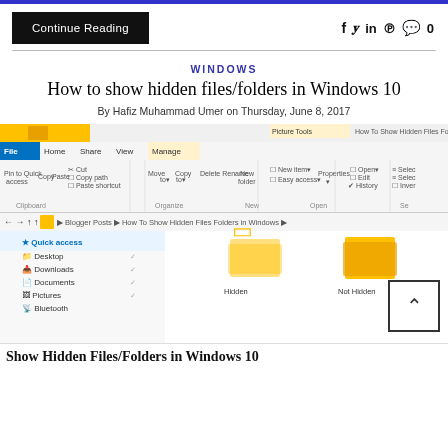[Figure (screenshot): Top blue bar of a website]
Continue Reading
social icons: f, twitter, in, pinterest, comment 0
WINDOWS
How to show hidden files/folders in Windows 10
By Hafiz Muhammad Umer on Thursday, June 8, 2017
[Figure (screenshot): Windows 10 File Explorer screenshot showing hidden and not-hidden folders]
Show Hidden Files/Folders in Windows 10